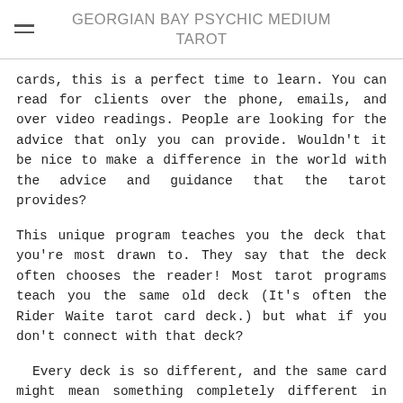GEORGIAN BAY PSYCHIC MEDIUM TAROT
cards, this is a perfect time to learn. You can read for clients over the phone, emails, and over video readings. People are looking for the advice that only you can provide. Wouldn't it be nice to make a difference in the world with the advice and guidance that the tarot provides?
This unique program teaches you the deck that you're most drawn to. They say that the deck often chooses the reader! Most tarot programs teach you the same old deck (It's often the Rider Waite tarot card deck.) but what if you don't connect with that deck?
Every deck is so different, and the same card might mean something completely different in another deck. (For example: The Death card in the Druid Craft Tarot reads differently for me than the Death card in the